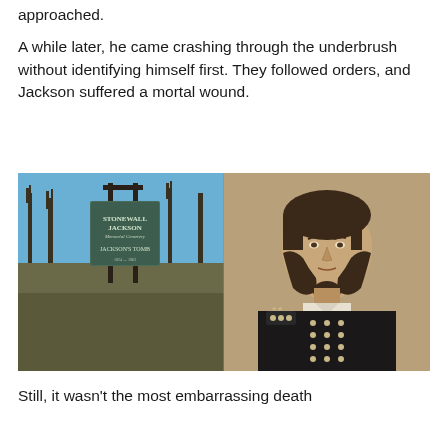approached.
A while later, he came crashing through the underbrush without identifying himself first. They followed orders, and Jackson suffered a mortal wound.
[Figure (photo): Two side-by-side photos: left shows a sign for Stonewall Jackson Memorial Cemetery / Jackson's Tomb with bare winter trees in the background; right shows a sepia-toned portrait of Stonewall Jackson in military uniform with buttons and stars on the collar.]
Still, it wasn't the most embarrassing death